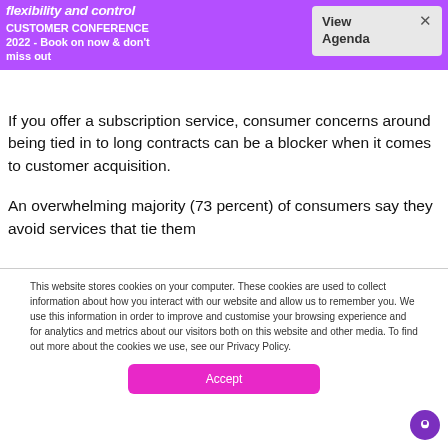flexibility and control
CUSTOMER CONFERENCE 2022 - Book on now & don't miss out
If you offer a subscription service, consumer concerns around being tied in to long contracts can be a blocker when it comes to customer acquisition.
An overwhelming majority (73 percent) of consumers say they avoid services that tie them
This website stores cookies on your computer. These cookies are used to collect information about how you interact with our website and allow us to remember you. We use this information in order to improve and customise your browsing experience and for analytics and metrics about our visitors both on this website and other media. To find out more about the cookies we use, see our Privacy Policy.
Accept